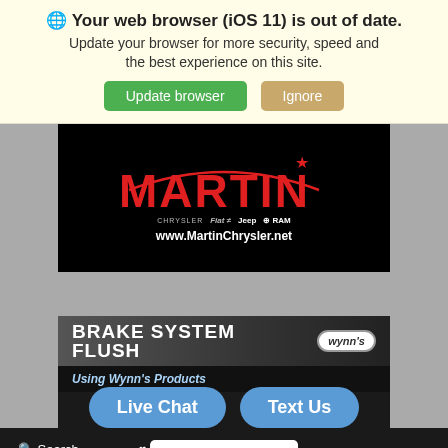🌐 Your web browser (iOS 11) is out of date. Update your browser for more security, speed and the best experience on this site.
Update browser
Ignore
[Figure (logo): Martin Chrysler dealership logo on black background. Red MARTIN text with star, arc graphic above, brand logos (Chrysler, Fiat, Jeep, Ram), www.MartinChrysler.net URL]
[Figure (screenshot): Brake System Flush promotional banner using Wynn's Products on black background with Wynn's oval logo badge]
OFFER DETAILS ∨
Live Chat
Text Us
🔍 Search   ♥ Saved